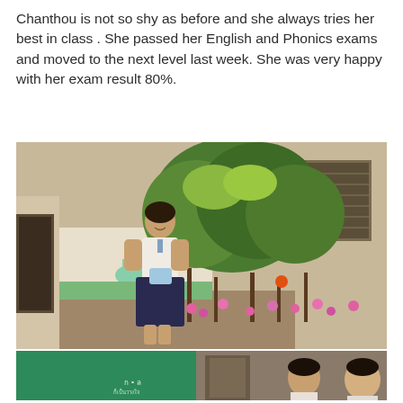Chanthou is not so shy as before and she always tries her best in class . She passed her English and Phonics exams and moved to the next level last week. She was very happy with her exam result 80%.
[Figure (photo): A young girl in school uniform (white blouse, dark navy skirt) standing outdoors next to flowering bushes with pink flowers, holding something in her hands. Behind her is a white wall with a painted mural of deer/animals. A building with shuttered windows is visible on the right.]
[Figure (photo): Partial view of a classroom scene with a green chalkboard on the left, writing on the board. Students visible in background, and what appears to be a teacher or student near a door/cabinet.]